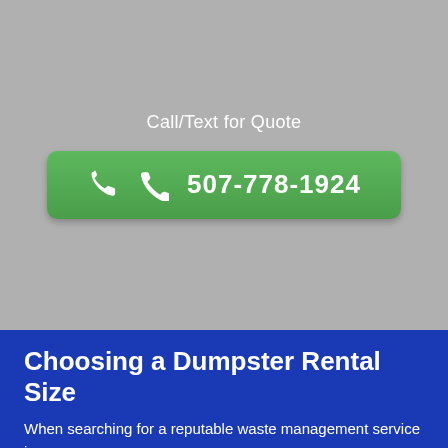Call/Text for Quote
[Figure (other): Green phone button with icon and phone number 507-778-1924]
Choosing a Dumpster Rental Size
When searching for a reputable waste management service in